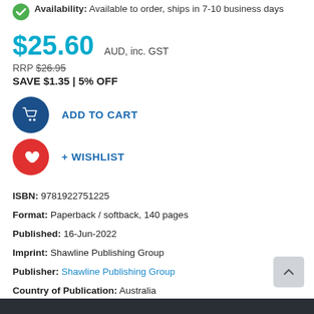Availability: Available to order, ships in 7-10 business days
$25.60 AUD, inc. GST
RRP $26.95
SAVE $1.35 | 5% OFF
ADD TO CART
+ WISHLIST
ISBN: 9781922751225
Format: Paperback / softback, 140 pages
Published: 16-Jun-2022
Imprint: Shawline Publishing Group
Publisher: Shawline Publishing Group
Country of Publication: Australia